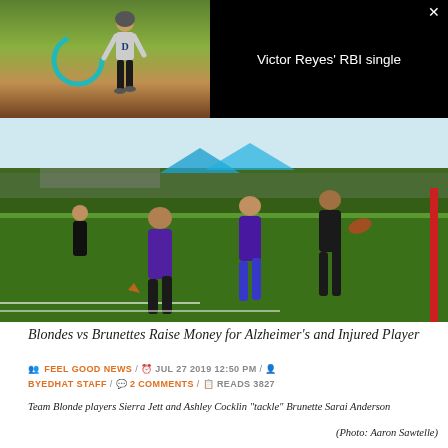[Figure (screenshot): Video overlay with baseball player thumbnail on left and black panel on right showing 'Victor Reyes' RBI single' title with a close button X in top right corner]
[Figure (photo): Women playing flag football outdoors on a grass field, players in purple uniforms chasing a player in dark uniform carrying a football, sunny day with spectators and tents in background]
Blondes vs Brunettes Raise Money for Alzheimer's and Injured Player
FEEL GOOD NEWS / JUL 27 2019 12:50 PM / BYEDHAT STAFF / 2 COMMENTS / READS 3827
Team Blonde players Sierra Jett and Ashley Cocklin "tackle" Brunette Sarai Anderson
(Photo: Aaron Sawtelle)